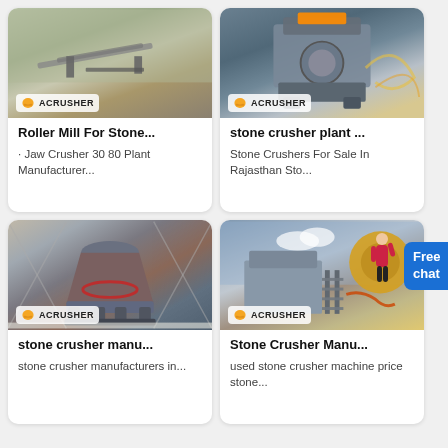[Figure (photo): Outdoor quarry mining site with conveyors and rock faces, ACRUSHER logo badge at bottom left]
Roller Mill For Stone...
· Jaw Crusher 30 80 Plant Manufacturer...
[Figure (photo): Industrial impact crusher machine in gray, large machinery with ACRUSHER badge]
stone crusher plant ...
Stone Crushers For Sale In Rajasthan Sto...
[Figure (photo): Cone crusher machine indoors in a warehouse with ACRUSHER badge]
stone crusher manu...
stone crusher manufacturers in...
[Figure (photo): Outdoor stone crushing plant with yellow equipment against blue sky with ACRUSHER badge]
Stone Crusher Manu...
used stone crusher machine price stone...